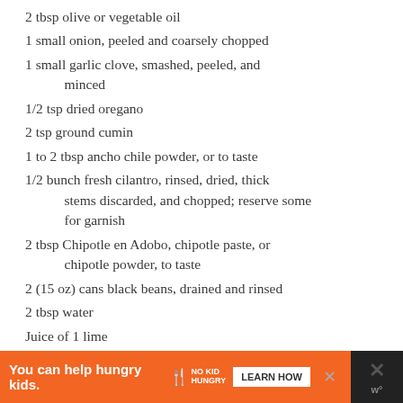2 tbsp olive or vegetable oil
1 small onion, peeled and coarsely chopped
1 small garlic clove, smashed, peeled, and minced
1/2 tsp dried oregano
2 tsp ground cumin
1 to 2 tbsp ancho chile powder, or to taste
1/2 bunch fresh cilantro, rinsed, dried, thick stems discarded, and chopped; reserve some for garnish
2 tbsp Chipotle en Adobo, chipotle paste, or chipotle powder, to taste
2 (15 oz) cans black beans, drained and rinsed
2 tbsp water
Juice of 1 lime
Juice of 1/2 lemon, divided, plus more if
[Figure (other): Advertisement banner: orange background with 'You can help hungry kids.' text, No Kid Hungry logo, and 'LEARN HOW' button]